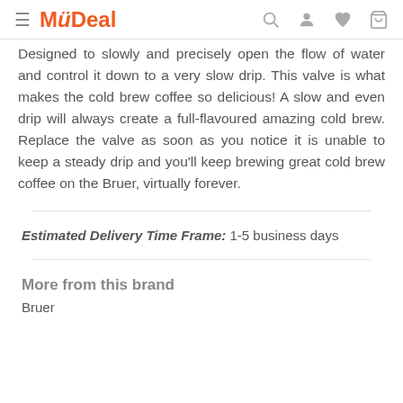MyDeal
Designed to slowly and precisely open the flow of water and control it down to a very slow drip. This valve is what makes the cold brew coffee so delicious! A slow and even drip will always create a full-flavoured amazing cold brew. Replace the valve as soon as you notice it is unable to keep a steady drip and you'll keep brewing great cold brew coffee on the Bruer, virtually forever.
Estimated Delivery Time Frame: 1-5 business days
More from this brand
Bruer